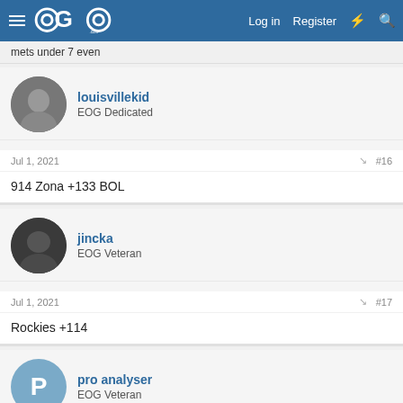EOG Forum navigation bar with logo, Log in, Register
mets under 7 even
louisvillekid
EOG Dedicated
Jul 1, 2021  #16
914 Zona +133 BOL
jincka
EOG Veteran
Jul 1, 2021  #17
Rockies +114
pro analyser
EOG Veteran